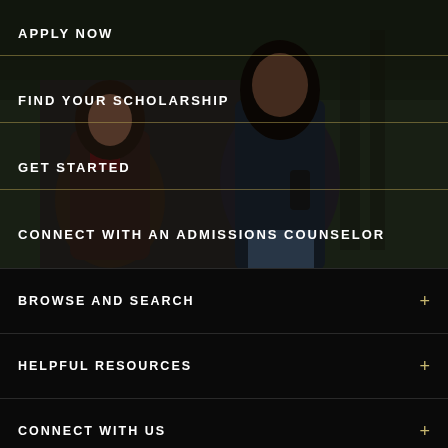[Figure (photo): Two young women laughing and celebrating outdoors, used as a hero background image for a university admissions page]
APPLY NOW
FIND YOUR SCHOLARSHIP
GET STARTED
CONNECT WITH AN ADMISSIONS COUNSELOR
BROWSE AND SEARCH
HELPFUL RESOURCES
CONNECT WITH US